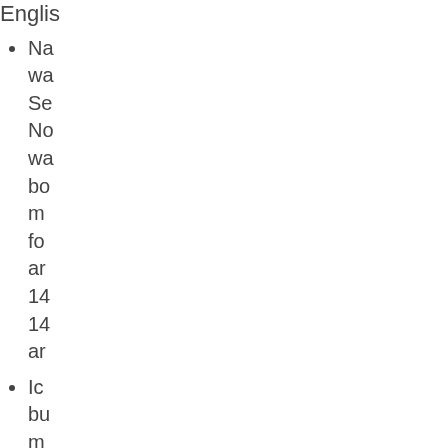Englis
Na wa Se No wa bo m fo ar 14 14 ar
Ic bu m